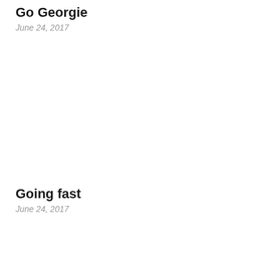Go Georgie
June 24, 2017
Going fast
June 24, 2017